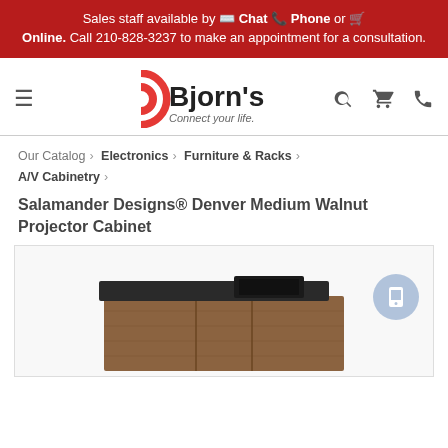Sales staff available by Chat, Phone or Online. Call 210-828-3237 to make an appointment for a consultation.
[Figure (logo): Bjorn's logo with red concentric-arc icon and text 'Bjorn's Connect your life.']
Our Catalog › Electronics › Furniture & Racks › A/V Cabinetry ›
Salamander Designs® Denver Medium Walnut Projector Cabinet
[Figure (photo): Product photo of the Salamander Designs Denver Medium Walnut Projector Cabinet — a wood-grain walnut cabinet with dark top surface and projector lift opening.]